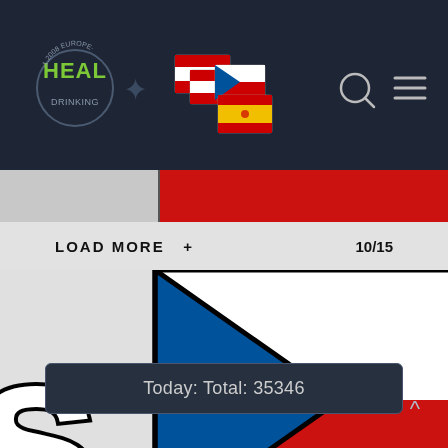[Figure (screenshot): Website header with HEAL logo (green text in circle), flag icons (Austrian/Latvian, Czech, Spanish flags), search icon, and hamburger menu icon on dark navy background]
[Figure (illustration): Decorative banner with gray left block and red right block]
LOAD MORE   +                          10/15
[Figure (illustration): Czech Republic flag illustration (blue triangle, white and red stripes) with partial letter 's' on left and partial letters 'mi' on right, all stylized with bold black outline on white/gray/red/yellow blocks]
Today: Total: 35346